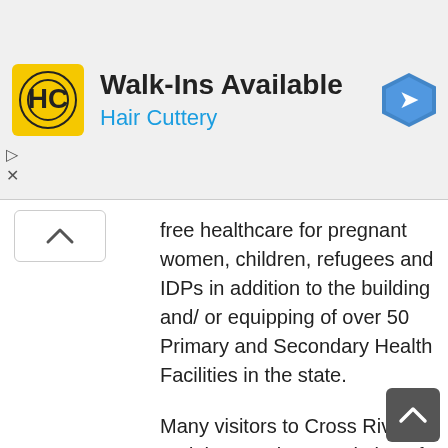[Figure (other): Advertisement banner for Hair Cuttery showing Walk-Ins Available with logo and navigation icon]
free healthcare for pregnant women, children, refugees and IDPs in addition to the building and/ or equipping of over 50 Primary and Secondary Health Facilities in the state.
Many visitors to Cross River and the teeming population of the state, who continue to marvel at how Ayade is able to accomplish so much within three years with meager financial inflow, have dubbed him a poster boy of performance and a case study of how a leader can strike a delicate but workable balance between social welfare, industrialization, infrastructural